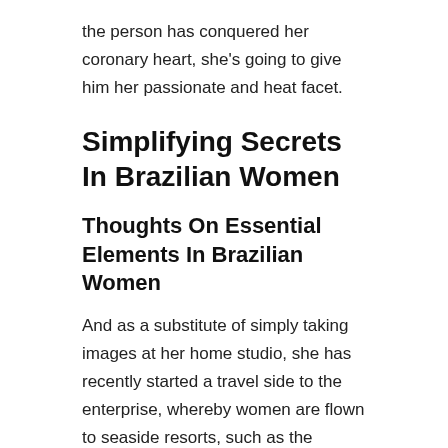the person has conquered her coronary heart, she's going to give him her passionate and heat facet.
Simplifying Secrets In Brazilian Women
Thoughts On Essential Elements In Brazilian Women
And as a substitute of simply taking images at her home studio, she has recently started a travel side to the enterprise, whereby women are flown to seaside resorts, such as the Brazilian island of Fernando de Noronha, to allow them to do